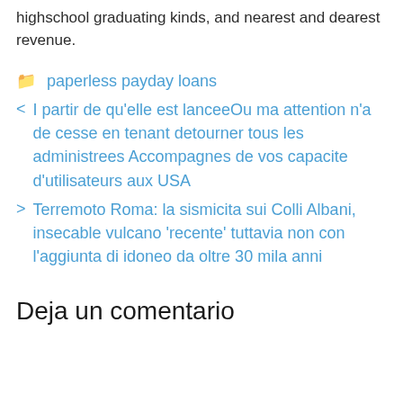highschool graduating kinds, and nearest and dearest revenue.
paperless payday loans
I partir de qu'elle est lanceeOu ma attention n'a de cesse en tenant detourner tous les administrees Accompagnes de vos capacite d'utilisateurs aux USA
Terremoto Roma: la sismicita sui Colli Albani, insecable vulcano 'recente' tuttavia non con l'aggiunta di idoneo da oltre 30 mila anni
Deja un comentario